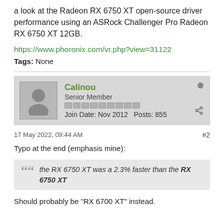a look at the Radeon RX 6750 XT open-source driver performance using an ASRock Challenger Pro Radeon RX 6750 XT 12GB.
https://www.phoronix.com/vr.php?view=31122
Tags: None
Calinou
Senior Member
Join Date: Nov 2012   Posts: 855
17 May 2022, 09:44 AM
#2
Typo at the end (emphasis mine):
the RX 6750 XT was a 2.3% faster than the RX 6750 XT
Should probably be "RX 6700 XT" instead.